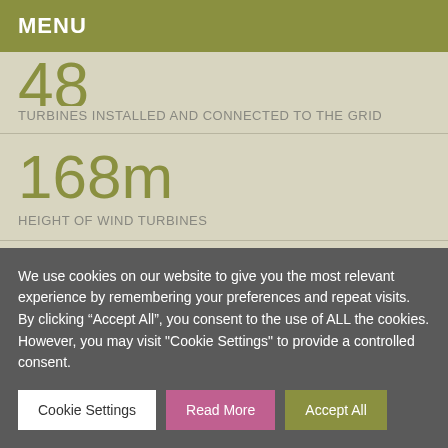MENU
48
TURBINES INSTALLED AND CONNECTED TO THE GRID
168m
HEIGHT OF WIND TURBINES
OCTOBER 2020
OPERATIONS COMMENCED
We use cookies on our website to give you the most relevant experience by remembering your preferences and repeat visits. By clicking “Accept All”, you consent to the use of ALL the cookies. However, you may visit "Cookie Settings" to provide a controlled consent.